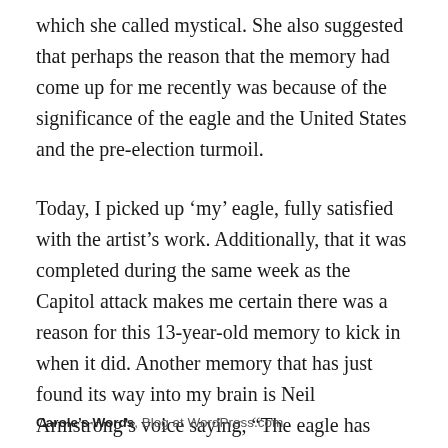which she called mystical. She also suggested that perhaps the reason that the memory had come up for me recently was because of the significance of the eagle and the United States and the pre-election turmoil.
Today, I picked up 'my' eagle, fully satisfied with the artist's work. Additionally, that it was completed during the same week as the Capitol attack makes me certain there was a reason for this 13-year-old memory to kick in when it did. Another memory that has just found its way into my brain is Neil Armstrong's voice saying, “The eagle has landed.”
Carole's Words, Blog at WordPress.com.